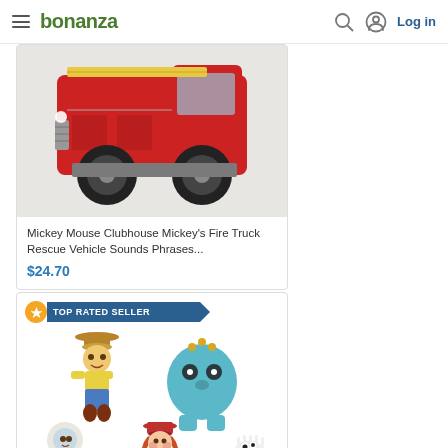bonanza  Log in
[Figure (photo): Fire truck toy - Mickey Mouse Clubhouse Mickey's Fire Truck product image (partially visible, showing rear of red fire truck)]
Mickey Mouse Clubhouse Mickey's Fire Truck Rescue Vehicle Sounds Phrases...
$24.70
[Figure (photo): TOP RATED SELLER badge with Toy Story characters: Woody, blue alien/monster, Buzz Lightyear, Jessie, and Forky mini figures arranged in two rows]
TOP RATED SELLER